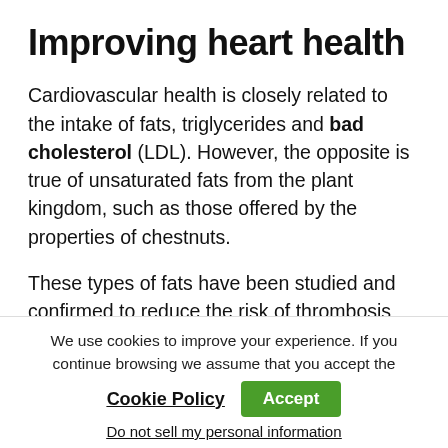Improving heart health
Cardiovascular health is closely related to the intake of fats, triglycerides and bad cholesterol (LDL). However, the opposite is true of unsaturated fats from the plant kingdom, such as those offered by the properties of chestnuts.
These types of fats have been studied and confirmed to reduce the risk of thrombosis and atherosclerosis, thus reducing the
We use cookies to improve your experience. If you continue browsing we assume that you accept the
Cookie Policy   Accept
Do not sell my personal information